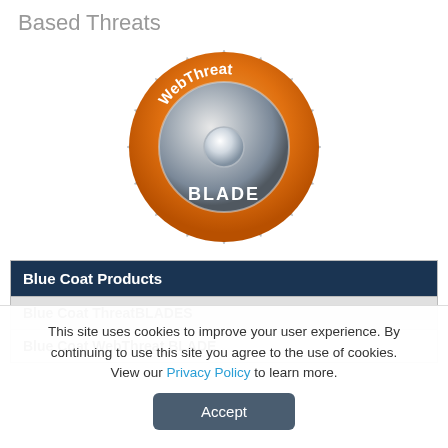Based Threats
[Figure (logo): WebThreat BLADE circular saw blade logo with orange outer ring and metallic center, text 'WebThreat' at top and 'BLADE' at bottom in white]
| Blue Coat Products |
| --- |
| Blue Coat ThreatBLADES |
| Blue Coat WebThreat BLADE |
This site uses cookies to improve your user experience. By continuing to use this site you agree to the use of cookies. View our Privacy Policy to learn more.
Accept